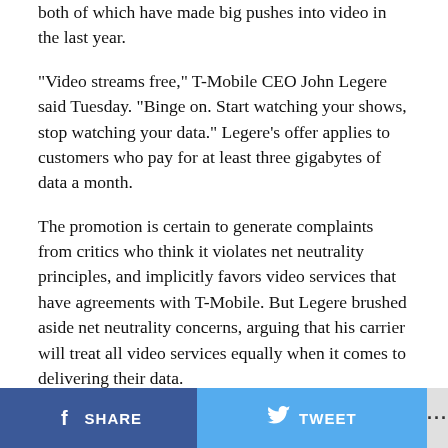both of which have made big pushes into video in the last year.
“Video streams free,” T-Mobile CEO John Legere said Tuesday. “Binge on. Start watching your shows, stop watching your data.” Legere’s offer applies to customers who pay for at least three gigabytes of data a month.
The promotion is certain to generate complaints from critics who think it violates net neutrality principles, and implicitly favors video services that have agreements with T-Mobile. But Legere brushed aside net neutrality concerns, arguing that his carrier will treat all video services equally when it comes to delivering their data.
“I make it very clear that we fundamentally believe in a free and open Internet,” Legere said onstage, in response to a question from Re/code. “We know the principles
SHARE   TWEET   ...